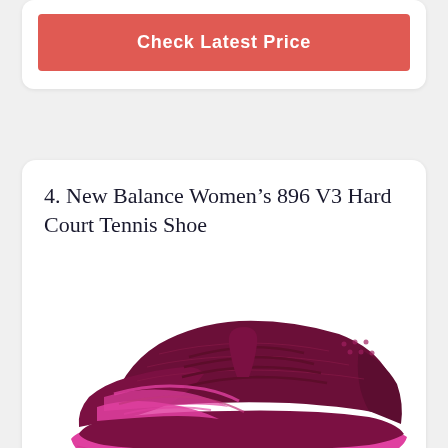Check Latest Price
4. New Balance Women's 896 V3 Hard Court Tennis Shoe
[Figure (photo): New Balance Women's 896 V3 Hard Court Tennis Shoe in dark maroon/burgundy color with bright pink sole and pink New Balance logo swoosh marks on the side]